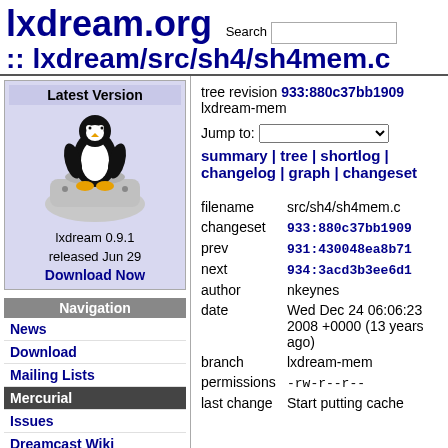lxdream.org :: lxdream/src/sh4/sh4mem.c
Latest Version
lxdream 0.9.1 released Jun 29
Download Now
Navigation
News
Download
Mailing Lists
Mercurial
Issues
Dreamcast Wiki
FAQ
tree revision 933:880c37bb1909 lxdream-mem
Jump to:
summary | tree | shortlog | changelog | graph | changeset
| field | value |
| --- | --- |
| filename | src/sh4/sh4mem.c |
| changeset | 933:880c37bb1909 |
| prev | 931:430048ea8b71 |
| next | 934:3acd3b3ee6d1 |
| author | nkeynes |
| date | Wed Dec 24 06:06:23 2008 +0000 (13 years ago) |
| branch | lxdream-mem |
| permissions | -rw-r--r-- |
| last change | Start putting cache |